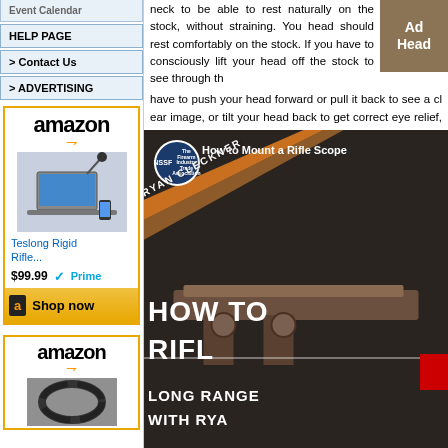HELP PAGE
> Contact Us
> ADVERTISING
[Figure (screenshot): Amazon advertisement for Teslong Rigid Rifle product priced at $99.99 with Prime shipping, with Shop now button]
[Figure (screenshot): Second Amazon advertisement box showing logo and product image]
neck to be able to rest naturally on the stock, without straining. You head should rest comfortably on the stock. If you have to consciously lift your head off the stock to see through the scope, or have to push your head forward or pull it back to see a clear image, or tilt your head back to get correct eye relief, then the scope's fore/aft position needs adjustment. more tips.
[Figure (screenshot): Video thumbnail: NSSF How to Mount a Rifle Scope featuring Ryan Cleckner, showing HOW TO RIFLE LONG RANGE WITH RYAN text overlay on dark background with rifle scope image]